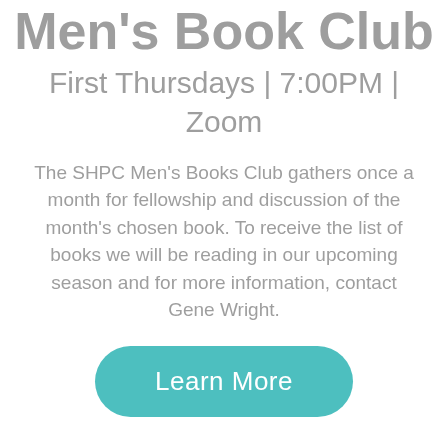Men's Book Club
First Thursdays | 7:00PM | Zoom
The SHPC Men's Books Club gathers once a month for fellowship and discussion of the month's chosen book. To receive the list of books we will be reading in our upcoming season and for more information, contact Gene Wright.
Learn More